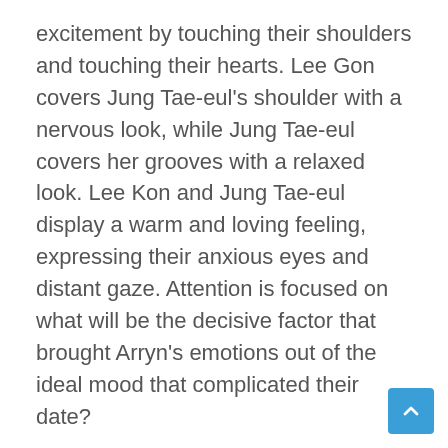excitement by touching their shoulders and touching their hearts. Lee Gon covers Jung Tae-eul's shoulder with a nervous look, while Jung Tae-eul covers her grooves with a relaxed look. Lee Kon and Jung Tae-eul display a warm and loving feeling, expressing their anxious eyes and distant gaze. Attention is focused on what will be the decisive factor that brought Arryn's emotions out of the ideal mood that complicated their date?
The moving scene between Lee Min-ho and Kim Go-eun was filmed in a park in Yeonsu-gu, Incheon in April. Lee Min-ho and Kim Go-eun amplified the set's energy with a smile from reflectors that would brighten the dim scene, and Kim Go-eun, resembling the ghost of Jeong Tae-eul. The two men, who were slightly different in height, began to rehearse carefully to beautifully capture their natural shoulder lifts and